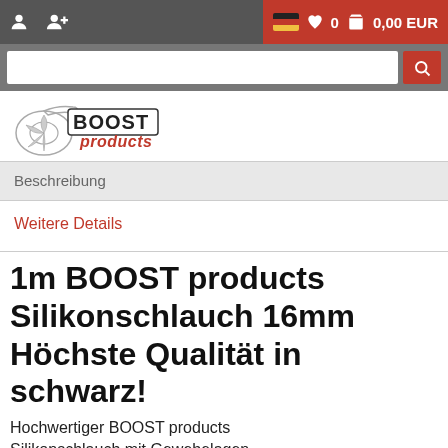0  0,00 EUR
[Figure (logo): BOOST products logo with turbo graphic in black and white with red italic 'products' text]
Beschreibung
Weitere Details
1m BOOST products Silikonschlauch 16mm Höchste Qualität in schwarz!
Hochwertiger BOOST products Silikonschlauch mit Gewebelagen Dieser BOOST products Silikonschlauch ist ein ideal f...